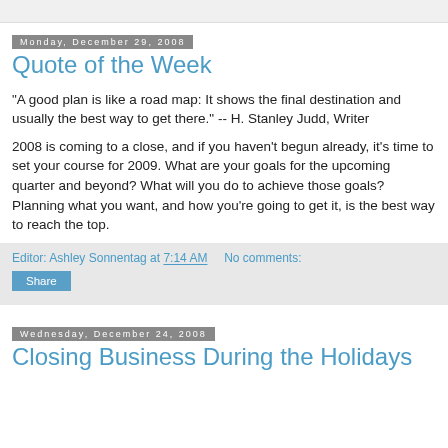Monday, December 29, 2008
Quote of the Week
"A good plan is like a road map: It shows the final destination and usually the best way to get there." -- H. Stanley Judd, Writer
2008 is coming to a close, and if you haven't begun already, it's time to set your course for 2009. What are your goals for the upcoming quarter and beyond? What will you do to achieve those goals? Planning what you want, and how you're going to get it, is the best way to reach the top.
Editor: Ashley Sonnentag at 7:14 AM    No comments:
Share
Wednesday, December 24, 2008
Closing Business During the Holidays